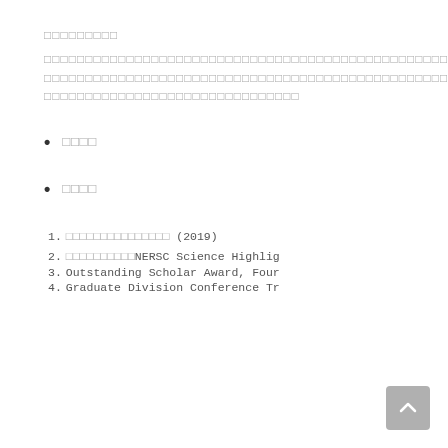□□□□□□□□□
□□□□□□□□□□□□□□□□□□□□□□□□□□□□□□□□□□□□□□□□□□□□□□□□□□□□□□□□□□□□□□□□□□□□□□□□□□□□□□□□□□□□□□□□□□□□□□□□□□□□□□□□□□□□□□□□□□
□□□□
□□□□
□□□□□□□□□□□□□□□ (2019)
□□□□□□□□□□NERSC Science Highlig
Outstanding Scholar Award, Four
Graduate Division Conference Tr